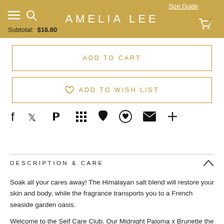AMELIA LEE — Subtotal: $16.80
ADD TO CART
ADD TO WISH LIST
DESCRIPTION & CARE
Soak all your cares away! The Himalayan salt blend will restore your skin and body, while the fragrance transports you to a French seaside garden oasis.
Welcome to the Self Care Club. Our Midnight Paloma x Brunette the Label